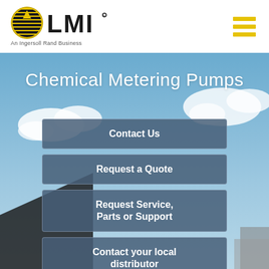[Figure (logo): LMI logo with circular globe icon and text 'LMI An Ingersoll Rand Business']
Chemical Metering Pumps
Contact Us
Request a Quote
Request Service, Parts or Support
Contact your local distributor